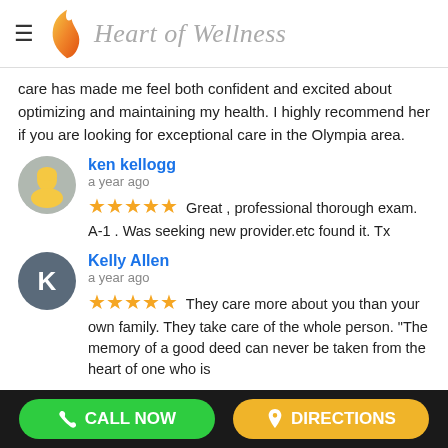[Figure (logo): Heart of Wellness logo with orange flame/leaf icon and italic gray script text]
care has made me feel both confident and excited about optimizing and maintaining my health. I highly recommend her if you are looking for exceptional care in the Olympia area.
ken kellogg
a year ago
★★★★★ Great , professional thorough exam. A-1 . Was seeking new provider.etc found it. Tx
Kelly Allen
a year ago
★★★★★ They care more about you than your own family. They take care of the whole person. "The memory of a good deed can never be taken from the heart of one who is
📞 CALL NOW
📍 DIRECTIONS